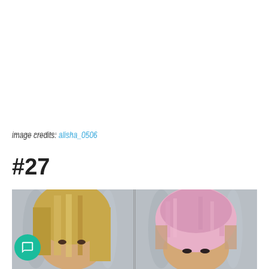image credits: alisha_0506
#27
[Figure (photo): Before and after hair transformation: left side shows long straight blonde hair, right side shows short pink pixie cut hair. Both photos taken in front of a grey curtain background.]